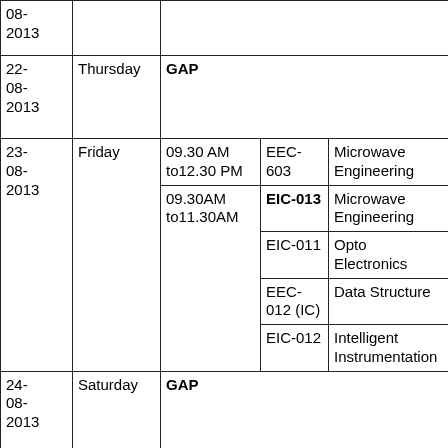| Date | Day | Time | Subject Code | Subject |
| --- | --- | --- | --- | --- |
| 08-2013 |  |  |  |  |
| 22-08-2013 | Thursday | GAP |  |  |
| 23-08-2013 | Friday | 09.30 AM to12.30 PM | EEC-603 | Microwave Engineering |
| 23-08-2013 | Friday | 09.30AM to11.30AM | EIC-013 | Microwave Engineering |
|  |  |  | EIC-011 | Opto Electronics |
|  |  |  | EEC-012 (IC) | Data Structure |
|  |  |  | EIC-012 | Intelligent Instrumentation |
| 24-08-2013 | Saturday | GAP |  |  |
| 25-08-2013 | Sunday | 09.30 AM to12.30 PM | EIC-601 | Microcontroller |
| 25-08-2013 | Sunday | 09.30AM | EEC- | Microcontroller |